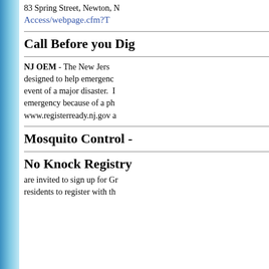83 Spring Street, Newton, N...
Access/webpage.cfm?T...
Call Before you Dig
NJ OEM - The New Jers... designed to help emergency... event of a major disaster. emergency because of a ph... www.registerready.nj.gov a...
Mosquito Control -
No Knock Registry
are invited to sign up for Gr... residents to register with th...